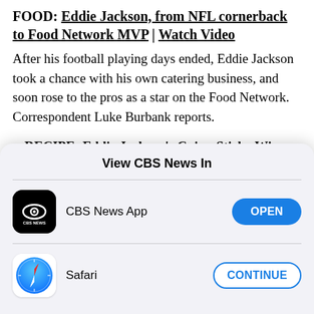FOOD: Eddie Jackson, from NFL cornerback to Food Network MVP | Watch Video
After his football playing days ended, Eddie Jackson took a chance with his own catering business, and soon rose to the pros as a star on the Food Network. Correspondent Luke Burbank reports.
RECIPE: Eddie Jackson's Cajun Sticky Wings
RECIPE: Eddie Jackson's Caribbean Jerk Sliders
View CBS News In
CBS News App  [OPEN button]
Safari  [CONTINUE button]